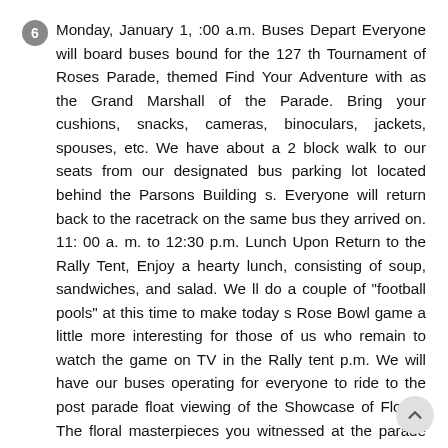Monday, January 1, :00 a.m. Buses Depart Everyone will board buses bound for the 127 th Tournament of Roses Parade, themed Find Your Adventure with as the Grand Marshall of the Parade. Bring your cushions, snacks, cameras, binoculars, jackets, spouses, etc. We have about a 2 block walk to our seats from our designated bus parking lot located behind the Parsons Building s. Everyone will return back to the racetrack on the same bus they arrived on. 11: 00 a. m. to 12:30 p.m. Lunch Upon Return to the Rally Tent, Enjoy a hearty lunch, consisting of soup, sandwiches, and salad. We ll do a couple of "football pools" at this time to make today s Rose Bowl game a little more interesting for those of us who remain to watch the game on TV in the Rally tent p.m. We will have our buses operating for everyone to ride to the post parade float viewing of the Showcase of Floats. The floral masterpieces you witnessed at the parade will be parked on the boulevard for close up viewing and photo taking. Shuttles will return as soon as the bus is full. The last bus will be departing for the Rally site at 3:45 p.m. ** Note** the 102nd Rose Bowl Game starts at 2:00 p.m. Those having